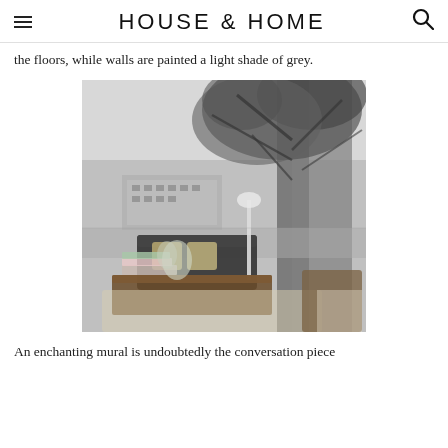HOUSE & HOME
the floors, while walls are painted a light shade of grey.
[Figure (photo): Interior room with a dramatic black and white landscape mural wallpaper featuring a large tree and a historic estate building. In the foreground are leather sofas with cushions, a wooden coffee table with books, and a floor lamp.]
An enchanting mural is undoubtedly the conversation piece